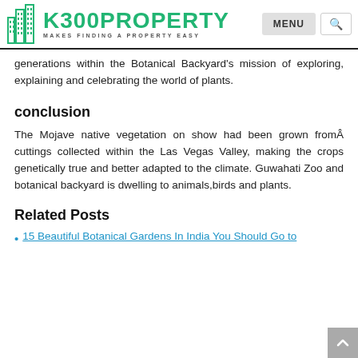K300PROPERTY MAKES FINDING A PROPERTY EASY
generations within the Botanical Backyard’s mission of exploring, explaining and celebrating the world of plants.
conclusion
The Mojave native vegetation on show had been grown fromÂ cuttings collected within the Las Vegas Valley, making the crops genetically true and better adapted to the climate. Guwahati Zoo and botanical backyard is dwelling to animals,birds and plants.
Related Posts
15 Beautiful Botanical Gardens In India You Should Go to